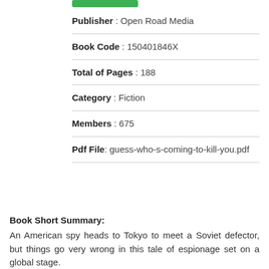[Figure (other): Green button/bar element at top]
Publisher : Open Road Media
Book Code : 150401846X
Total of Pages : 188
Category : Fiction
Members : 675
Pdf File: guess-who-s-coming-to-kill-you.pdf
Book Short Summary:
An American spy heads to Tokyo to meet a Soviet defector, but things go very wrong in this tale of espionage set on a global stage.